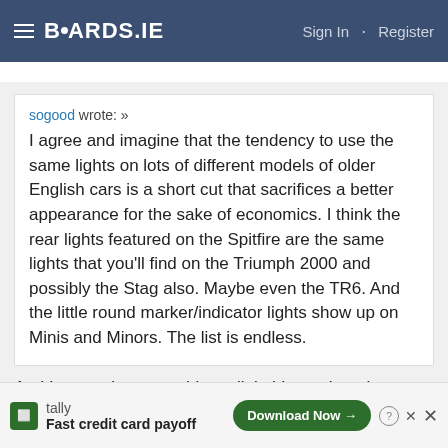BOARDS.IE  Sign In · Register
sogood wrote: »
I agree and imagine that the tendency to use the same lights on lots of different models of older English cars is a short cut that sacrifices a better appearance for the sake of economics. I think the rear lights featured on the Spitfire are the same lights that you'll find on the Triumph 2000 and possibly the Stag also. Maybe even the TR6. And the little round marker/indicator lights show up on Minis and Minors. The list is endless.
And I agree that something a little bigger than the Landy lights would be nicer. BTW, still following this
[Figure (screenshot): Tally advertisement banner: Fast credit card payoff with Download Now button]